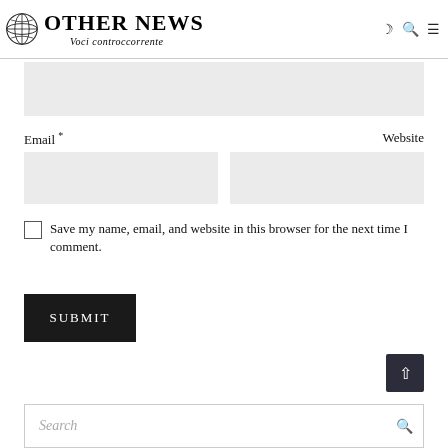OTHER NEWS — Voci controccorrente
[Figure (screenshot): Comment form section with Email and Website input fields, a save-name checkbox, and a SUBMIT button. Below is a search bar at the bottom of the page with a scroll-to-top button.]
Email * Website
Save my name, email, and website in this browser for the next time I comment.
SUBMIT
Search